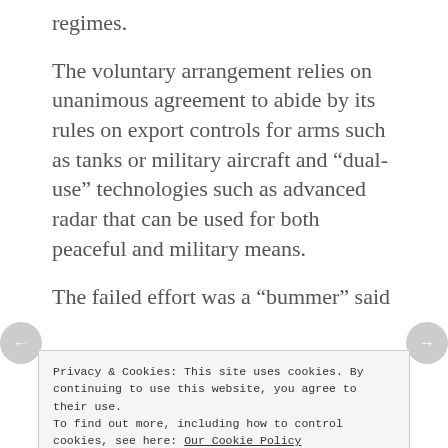regimes.
The voluntary arrangement relies on unanimous agreement to abide by its rules on export controls for arms such as tanks or military aircraft and “dual-use” technologies such as advanced radar that can be used for both peaceful and military means.
The failed effort was a “bummer” said
Privacy & Cookies: This site uses cookies. By continuing to use this website, you agree to their use.
To find out more, including how to control cookies, see here: Our Cookie Policy
Close and accept
“If anybody understands how quickly